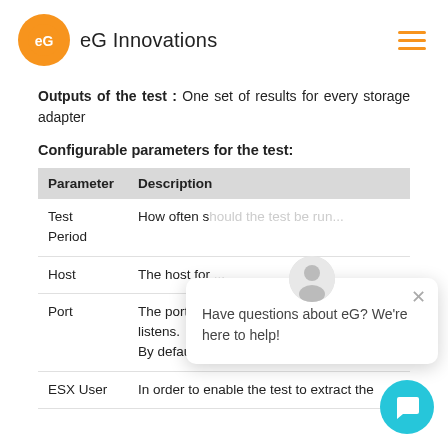eG Innovations
Outputs of the test : One set of results for every storage adapter
Configurable parameters for the test:
| Parameter | Description |
| --- | --- |
| Test Period | How often should the test be run... |
| Host | The host for... |
| Port | The port at which the specified HOST listens. By default, this is NULL. |
| ESX User | In order to enable the test to extract the |